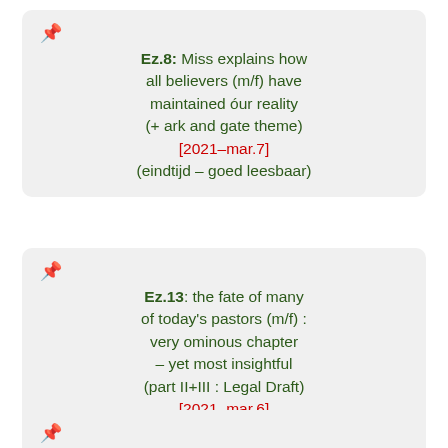Ez.8: Miss explains how all believers (m/f) have maintained óur reality (+ ark and gate theme) [2021-mar.7] (eindtijd – goed leesbaar)
Ez.13: the fate of many of today's pastors (m/f) : very ominous chapter – yet most insightful (part II+III : Legal Draft) [2021-mar.6] (eindtijd – goed leesbaar)